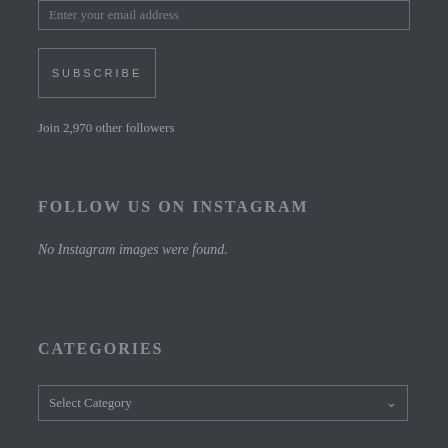Enter your email address
SUBSCRIBE
Join 2,970 other followers
FOLLOW US ON INSTAGRAM
No Instagram images were found.
CATEGORIES
Select Category